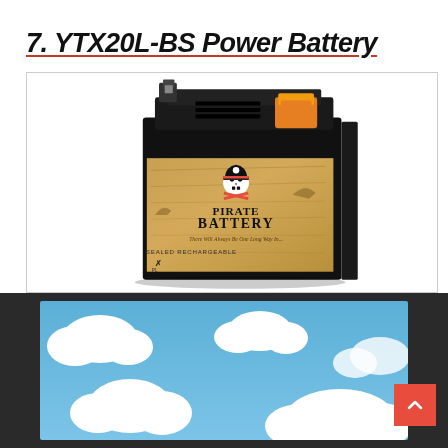7. YTX20L-BS Power Battery
[Figure (photo): Photo of a Pirate Battery YTX20L-BS sealed rechargeable power battery. The battery is black with a decorative label featuring a pirate skull and crossbones logo and a treasure map background. There is an orange cap/vent on the top right corner. The label reads 'Pirate Battery – Sealed Rechargeable'.]
[Figure (photo): Blue sky with white clouds image, shown in the footer bar area of the page. A red scroll-to-top button with an upward chevron arrow is visible in the bottom right corner.]